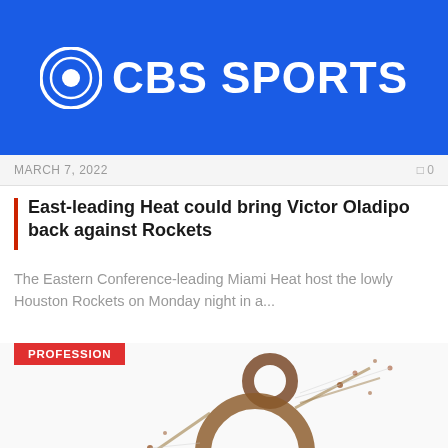[Figure (logo): CBS Sports logo on blue background header]
MARCH 7, 2022   0
East-leading Heat could bring Victor Oladipo back against Rockets
The Eastern Conference-leading Miami Heat host the lowly Houston Rockets on Monday night in a...
PROFESSION
[Figure (illustration): Aerial view of crowd of people forming a disability/wheelchair symbol shape on white background]